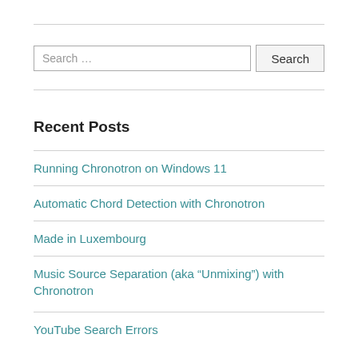Search …
Recent Posts
Running Chronotron on Windows 11
Automatic Chord Detection with Chronotron
Made in Luxembourg
Music Source Separation (aka "Unmixing") with Chronotron
YouTube Search Errors